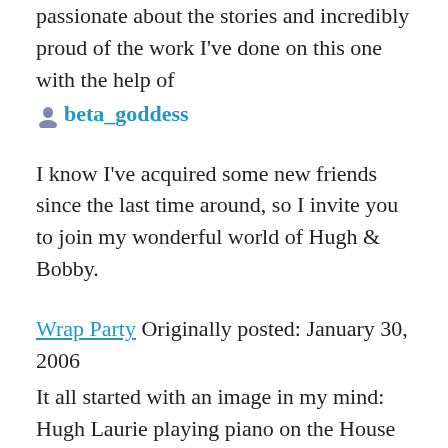passionate about the stories and incredibly proud of the work I've done on this one with the help of
beta_goddess
I know I've acquired some new friends since the last time around, so I invite you to join my wonderful world of Hugh & Bobby.
Wrap Party Originally posted: January 30, 2006
It all started with an image in my mind: Hugh Laurie playing piano on the House apartment set, singing Noel Coward songs and Robert Sean Leonard listening to him.
Like A Hurricane
Originally posted: February 26, 2006